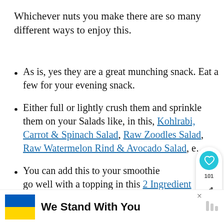Whichever nuts you make there are so many different ways to enjoy this.
As is, yes they are a great munching snack. Eat a few for your evening snack.
Either full or lightly crush them and sprinkle them on your Salads like, in this, Kohlrabi, Carrot & Spinach Salad, Raw Zoodles Salad, Raw Watermelon Rind & Avocado Salad, e...
You can add this to your smoothie ... will go well with a topping in this 2 Ingredient...
[Figure (infographic): Blue and yellow Ukrainian flag with 'We Stand With You' text ad banner at the bottom of the page]